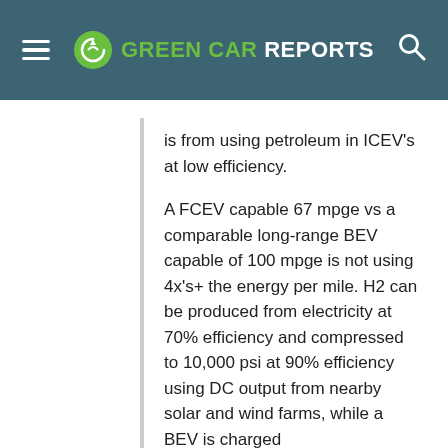GREEN CAR REPORTS
is from using petroleum in ICEV's at low efficiency.
A FCEV capable 67 mpge vs a comparable long-range BEV capable of 100 mpge is not using 4x's+ the energy per mile. H2 can be produced from electricity at 70% efficiency and compressed to 10,000 psi at 90% efficiency using DC output from nearby solar and wind farms, while a BEV is charged